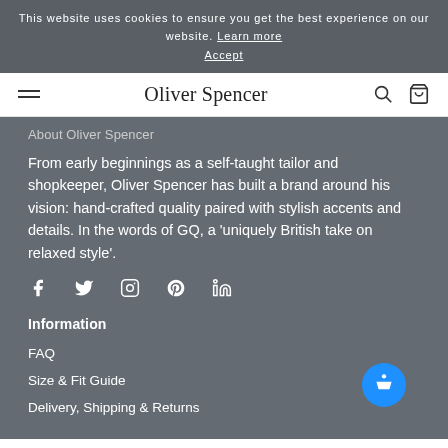This website uses cookies to ensure you get the best experience on our website. Learn more
Accept
Oliver Spencer
About Oliver Spencer
From early beginnings as a self-taught tailor and shopkeeper, Oliver Spencer has built a brand around his vision: hand-crafted quality paired with stylish accents and details. In the words of GQ, a ‘uniquely British take on relaxed style’.
[Figure (infographic): Social media icons: Facebook, Twitter, Instagram, Pinterest, LinkedIn]
Information
FAQ
Size & Fit Guide
Delivery, Shipping & Returns